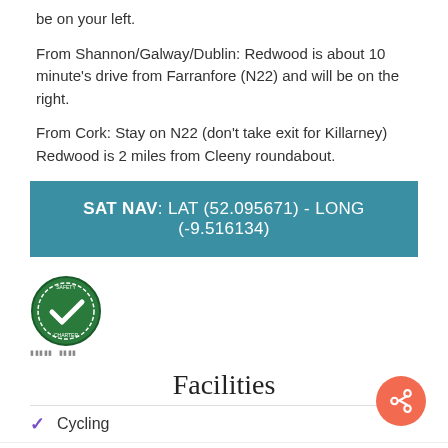be on your left.
From Shannon/Galway/Dublin: Redwood is about 10 minute's drive from Farranfore (N22) and will be on the right.
From Cork: Stay on N22 (don't take exit for Killarney) Redwood is 2 miles from Cleeny roundabout.
SAT NAV: LAT (52.095671) - LONG (-9.516134)
[Figure (logo): Safety Charter green circular badge with white checkmark]
Facilities
Cycling
Fishing within 5kms